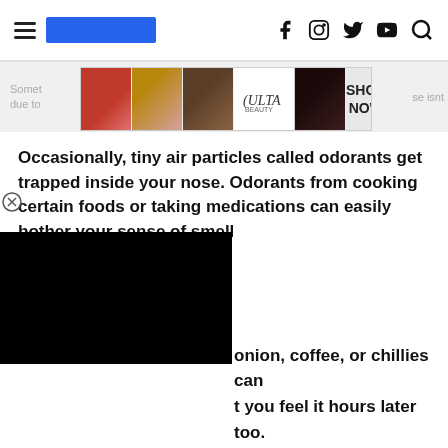Navigation bar with hamburger menu, blue rectangle logo placeholder, and social icons (Facebook, Instagram, Twitter, YouTube, Search)
[Figure (infographic): Ulta Beauty advertisement banner with makeup photos and SHOP NOW button]
Something ... se isnt due to ...
Occasionally, tiny air particles called odorants get trapped inside your nose. Odorants from cooking certain foods or taking medications can easily bother your sense of smell
[Figure (other): Black rectangle overlay covering part of the page content]
onion, coffee, or chillies can t you feel it hours later too.
[Figure (infographic): Victoria's Secret advertisement with SHOP THE COLLECTION and SHOP NOW button, CLOSE button overlay]